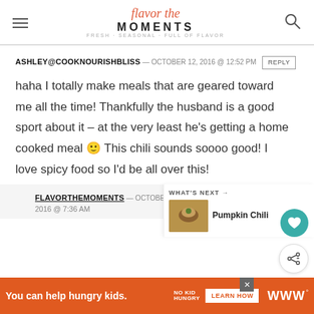flavor the MOMENTS
ASHLEY@COOKNOURISHBLISS — OCTOBER 12, 2016 @ 12:52 PM REPLY
haha I totally make meals that are geared toward me all the time! Thankfully the husband is a good sport about it – at the very least he's getting a home cooked meal 🙂 This chili sounds soooo good! I love spicy food so I'd be all over this!
FLAVORTHEMOMENTS — OCTOBER 1… 2016 @ 7:36 AM REPLY
WHAT'S NEXT → Pumpkin Chili
You can help hungry kids. NO KID HUNGRY LEARN HOW